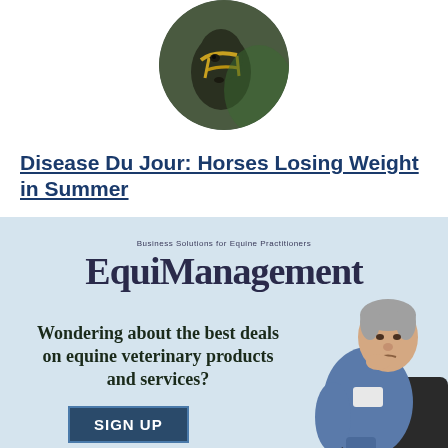[Figure (photo): Circular cropped photo of a dark horse wearing a yellow/green halter, close-up of face, outdoors with green background]
Disease Du Jour: Horses Losing Weight in Summer
[Figure (infographic): EquiManagement advertisement banner with light blue background. Logo reads 'EquiManagement Business Solutions for Equine Practitioners'. Text: 'Wondering about the best deals on equine veterinary products and services?' with a SIGN UP button. Right side shows a middle-aged man in blue scrubs sitting and thinking.]